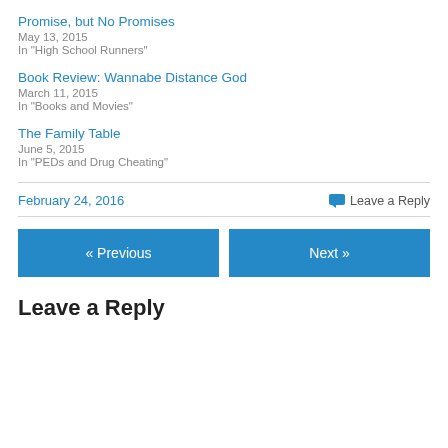Promise, but No Promises
May 13, 2015
In "High School Runners"
Book Review: Wannabe Distance God
March 11, 2015
In "Books and Movies"
The Family Table
June 5, 2015
In "PEDs and Drug Cheating"
February 24, 2016
Leave a Reply
« Previous
Next »
Leave a Reply